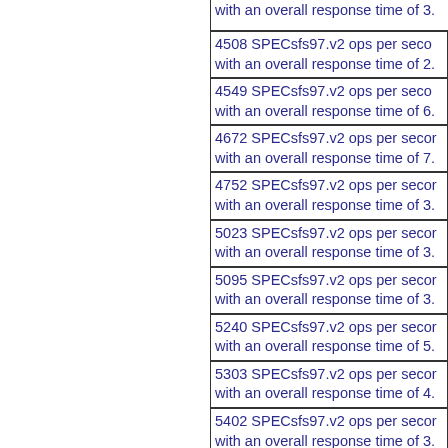... with an overall response time of 3....
4508 SPECsfs97.v2 ops per second with an overall response time of 2....
4549 SPECsfs97.v2 ops per second with an overall response time of 6....
4672 SPECsfs97.v2 ops per second with an overall response time of 7....
4752 SPECsfs97.v2 ops per second with an overall response time of 3....
5023 SPECsfs97.v2 ops per second with an overall response time of 3....
5095 SPECsfs97.v2 ops per second with an overall response time of 3....
5240 SPECsfs97.v2 ops per second with an overall response time of 5....
5303 SPECsfs97.v2 ops per second with an overall response time of 4....
5402 SPECsfs97.v2 ops per second with an overall response time of 3....
5550 SPECsfs97.v2 ops per second with an overall response time of 4....